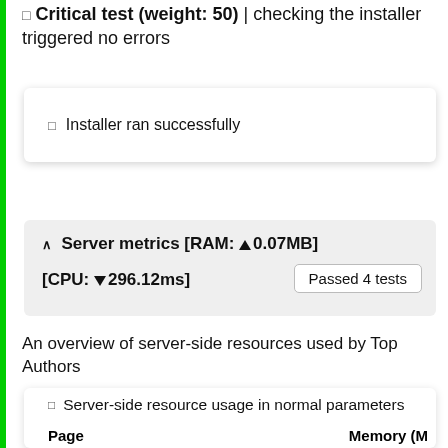Critical test (weight: 50) | checking the installer triggered no errors
Installer ran successfully
Server metrics [RAM: ▲0.07MB] [CPU: ▼296.12ms]   Passed 4 tests
An overview of server-side resources used by Top Authors
Server-side resource usage in normal parameters
| Page | Memory (M |
| --- | --- |
| Home / |  |